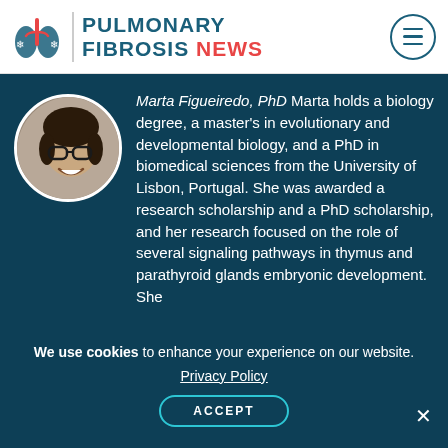PULMONARY FIBROSIS NEWS
[Figure (photo): Circular headshot photo of Marta Figueiredo, a woman with short dark hair and glasses, smiling]
Marta Figueiredo, PhD Marta holds a biology degree, a master's in evolutionary and developmental biology, and a PhD in biomedical sciences from the University of Lisbon, Portugal. She was awarded a research scholarship and a PhD scholarship, and her research focused on the role of several signaling pathways in thymus and parathyroid glands embryonic development. She
We use cookies to enhance your experience on our website.
Privacy Policy
ACCEPT